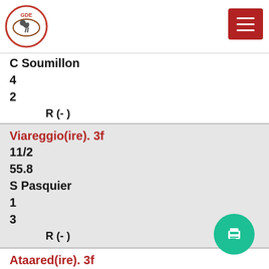Horse racing website header with logo and menu button
C Soumillon
4
2
R (- )
Viareggio(ire). 3f
11/2
55.8
S Pasquier
1
3
R (- )
Ataared(ire). 3f
9/2
55.8
C Demuro